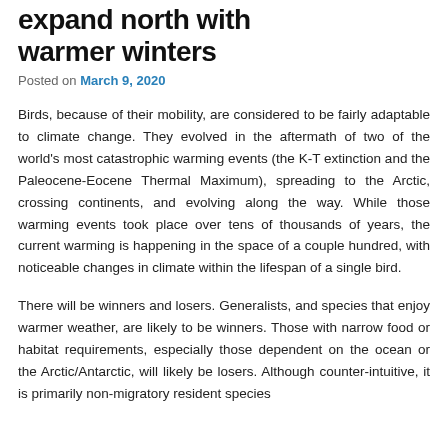expand north with warmer winters
Posted on March 9, 2020
Birds, because of their mobility, are considered to be fairly adaptable to climate change. They evolved in the aftermath of two of the world's most catastrophic warming events (the K-T extinction and the Paleocene-Eocene Thermal Maximum), spreading to the Arctic, crossing continents, and evolving along the way. While those warming events took place over tens of thousands of years, the current warming is happening in the space of a couple hundred, with noticeable changes in climate within the lifespan of a single bird.
There will be winners and losers. Generalists, and species that enjoy warmer weather, are likely to be winners. Those with narrow food or habitat requirements, especially those dependent on the ocean or the Arctic/Antarctic, will likely be losers. Although counter-intuitive, it is primarily non-migratory resident species